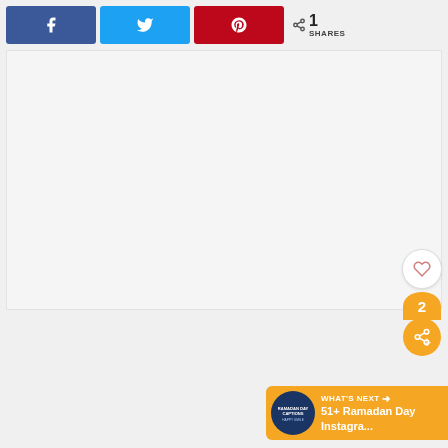[Figure (screenshot): Social share bar with Facebook (blue), Twitter (cyan), Pinterest (red) buttons, and a share count showing 1 SHARES]
[Figure (screenshot): Large light gray empty content/image area]
[Figure (screenshot): Floating right-side panel with heart/like button and orange share button showing count 2]
[Figure (screenshot): What's Next widget at bottom right showing Ramadan Day Instagra... article thumbnail and title]